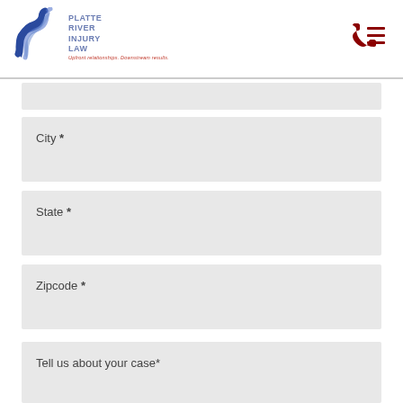[Figure (logo): Platte River Injury Law logo with blue river/wave graphic and text. Tagline: Upfront relationships. Downstream results.]
City *
State *
Zipcode *
Tell us about your case*